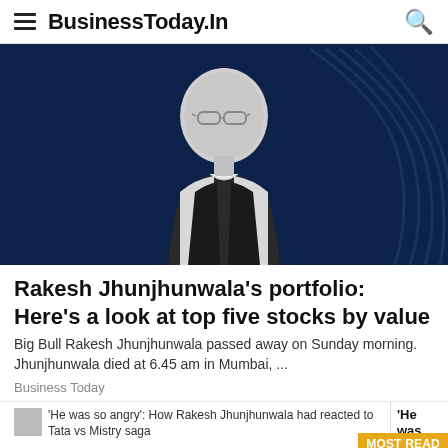BusinessToday.In
[Figure (photo): Black and white photo of Rakesh Jhunjhunwala in a dark vest and white shirt, smiling, with a stylized blue background featuring the BSE building curves.]
Rakesh Jhunjhunwala's portfolio: Here's a look at top five stocks by value
Big Bull Rakesh Jhunjhunwala passed away on Sunday morning. Jhunjhunwala died at 6.45 am in Mumbai, ...
Business Today
'He was so angry': How Rakesh Jhunjhunwala had reacted to Tata vs Mistry saga
'He was s...
MOST READ